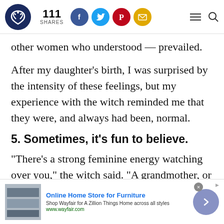111 SHARES
other women who understood — prevailed.
After my daughter's birth, I was surprised by the intensity of these feelings, but my experience with the witch reminded me that they were, and always had been, normal.
5. Sometimes, it's fun to believe.
"There's a strong feminine energy watching over you," the witch said. "A grandmother, or
[Figure (screenshot): Advertisement banner: Online Home Store for Furniture - Shop Wayfair for A Zillion Things Home across all styles. www.wayfair.com]